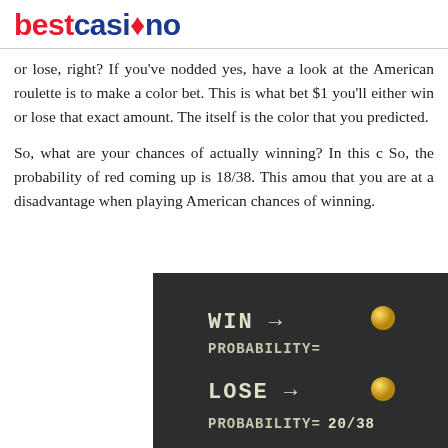bestcasino
or lose, right? If you've nodded yes, have a look at the American roulette is to make a color bet. This is what bet $1 you'll either win or lose that exact amount. The itself is the color that you predicted.
So, what are your chances of actually winning? In this c So, the probability of red coming up is 18/38. This amou that you are at a disadvantage when playing American chances of winning.
[Figure (photo): Chalkboard showing WIN → PROBABILITY= and LOSE → PROBABILITY= 20/38, with gold dots next to each label]